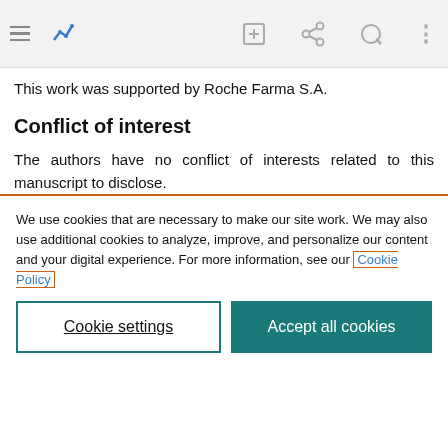[Figure (screenshot): Browser toolbar with hamburger menu, blue activity icon, edit icon, share/cut icon, search icon, and vertical ellipsis (more options) icon on a light gray background.]
This work was supported by Roche Farma S.A.
Conflict of interest
The authors have no conflict of interests related to this manuscript to disclose.
We use cookies that are necessary to make our site work. We may also use additional cookies to analyze, improve, and personalize our content and your digital experience. For more information, see our Cookie Policy
Cookie settings
Accept all cookies